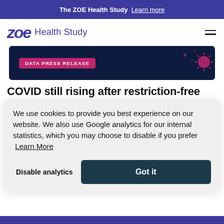The ZOE Health Study  Learn more
zoe Health Study
[Figure (photo): Dark blue banner with DATA PRESS RELEASE pink badge and decorative virus/dot graphics on right]
COVID still rising after restriction-free summer
We use cookies to provide you best experience on our website. We also use Google analytics for our internal statistics, which you may choose to disable if you prefer  Learn More
Disable analytics   Got it